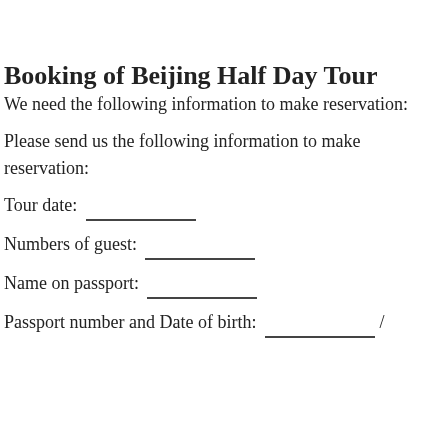Booking of Beijing Half Day Tour
We need the following information to make reservation:
Please send us the following information to make reservation:
Tour date: ___________
Numbers of guest: ___________
Name on passport: ___________
Passport number and Date of birth: ___________ /